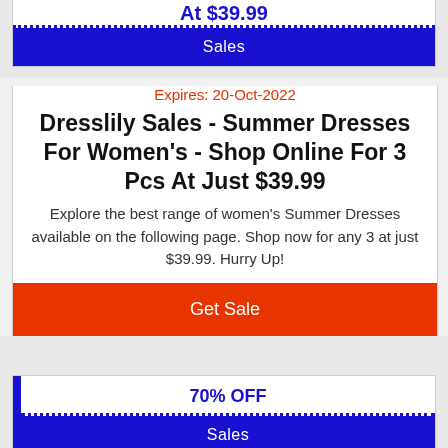At $39.99
Sales
Expires: 20-Oct-2022
Dresslily Sales - Summer Dresses For Women's - Shop Online For 3 Pcs At Just $39.99
Explore the best range of women's Summer Dresses available on the following page. Shop now for any 3 at just $39.99. Hurry Up!
Get Sale
70% OFF
Sales
Expires: 25-Sep-2022
Dresslily Sales - Swimwear For